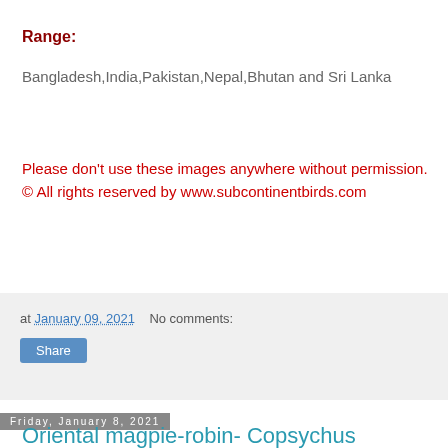Range:
Bangladesh,India,Pakistan,Nepal,Bhutan and Sri Lanka
Please don't use these images anywhere without permission. © All rights reserved by www.subcontinentbirds.com
at January 09, 2021   No comments:
Share
Friday, January 8, 2021
Oriental magpie-robin- Copsychus saularis